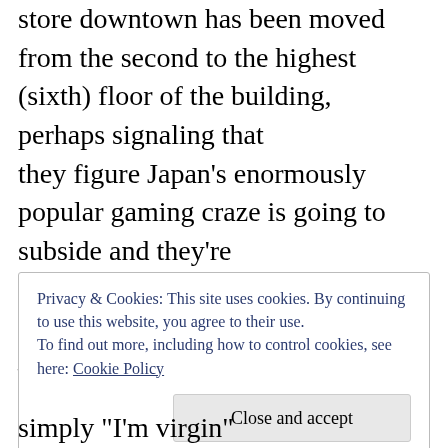store downtown has been moved from the second to the highest (sixth) floor of the building, perhaps signaling that they figure Japan's enormously popular gaming craze is going to subside and they're relegating the otaku back to the wings – McDonald's new sandwich here is called the Mega Teriyaki, and it looks like a Big Mac with both burger patties smothered in teriyaki sauce. I want to eat it, but
Privacy & Cookies: This site uses cookies. By continuing to use this website, you agree to their use. To find out more, including how to control cookies, see here: Cookie Policy
simply "I'm virgin"